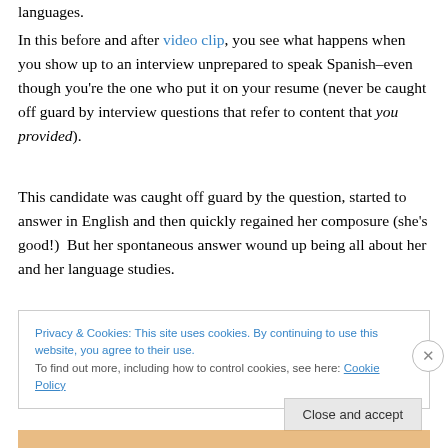languages.
In this before and after video clip, you see what happens when you show up to an interview unprepared to speak Spanish–even though you're the one who put it on your resume (never be caught off guard by interview questions that refer to content that you provided).
This candidate was caught off guard by the question, started to answer in English and then quickly regained her composure (she's good!)  But her spontaneous answer wound up being all about her and her language studies.
Privacy & Cookies: This site uses cookies. By continuing to use this website, you agree to their use.
To find out more, including how to control cookies, see here: Cookie Policy
Close and accept